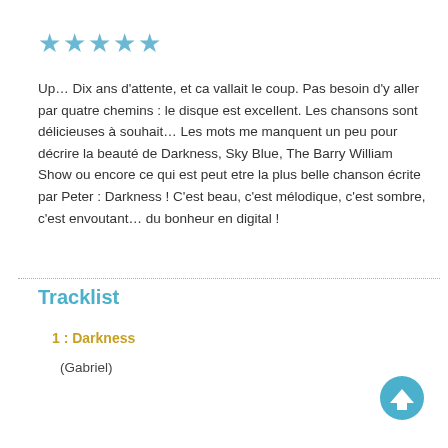[Figure (other): Five filled star icons in light blue representing a 5-star rating]
Up… Dix ans d'attente, et ca vallait le coup. Pas besoin d'y aller par quatre chemins : le disque est excellent. Les chansons sont délicieuses à souhait… Les mots me manquent un peu pour décrire la beauté de Darkness, Sky Blue, The Barry William Show ou encore ce qui est peut etre la plus belle chanson écrite par Peter : Darkness ! C'est beau, c'est mélodique, c'est sombre, c'est envoutant… du bonheur en digital !
Tracklist
1 : Darkness
(Gabriel)